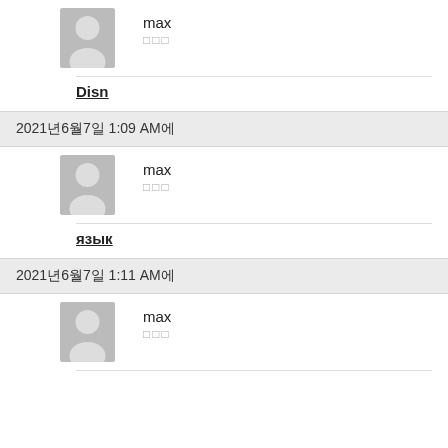[Figure (illustration): Default user avatar placeholder (gray silhouette) for user 'max']
max
□□□
Disn
2021년6월7일 1:09 AM에
[Figure (illustration): Default user avatar placeholder (gray silhouette) for user 'max']
max
□□□
язык
2021년6월7일 1:11 AM에
[Figure (illustration): Default user avatar placeholder (gray silhouette) for user 'max']
max
□□□